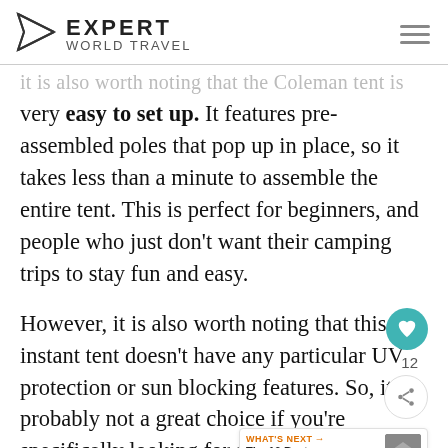Expert World Travel
...it is also worth noting that the Coleman tent is very easy to set up. It features pre-assembled poles that pop up in place, so it takes less than a minute to assemble the entire tent. This is perfect for beginners, and people who just don't want their camping trips to stay fun and easy.
However, it is also worth noting that this instant tent doesn't have any particular UV protection or sun blocking features. So, it's probably not a great choice if you're specifically looking for a beach tent... want something for the occasional camping